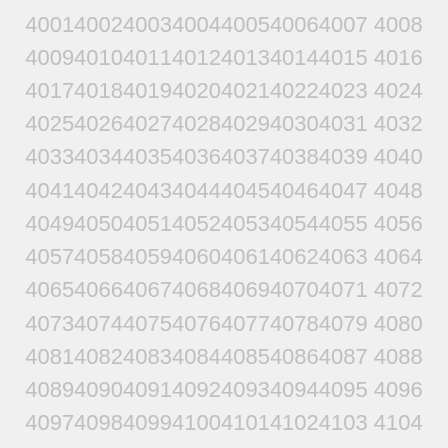4001 4002 4003 4004 4005 4006 4007 4008
4009 4010 4011 4012 4013 4014 4015 4016
4017 4018 4019 4020 4021 4022 4023 4024
4025 4026 4027 4028 4029 4030 4031 4032
4033 4034 4035 4036 4037 4038 4039 4040
4041 4042 4043 4044 4045 4046 4047 4048
4049 4050 4051 4052 4053 4054 4055 4056
4057 4058 4059 4060 4061 4062 4063 4064
4065 4066 4067 4068 4069 4070 4071 4072
4073 4074 4075 4076 4077 4078 4079 4080
4081 4082 4083 4084 4085 4086 4087 4088
4089 4090 4091 4092 4093 4094 4095 4096
4097 4098 4099 4100 4101 4102 4103 4104